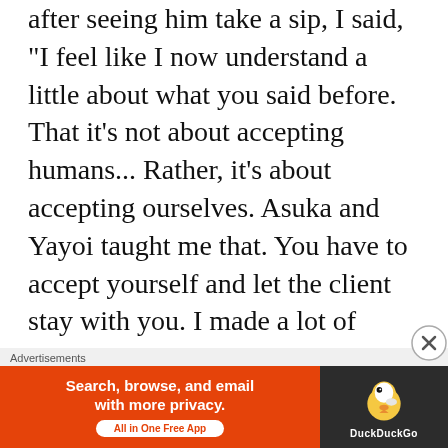after seeing him take a sip, I said, "I feel like I now understand a little about what you said before. That it's not about accepting humans... Rather, it's about accepting ourselves. Asuka and Yayoi taught me that. You have to accept yourself and let the client stay with you. I made a lot of mistakes this time, but now I finally understand... I feel like I've become better."
I prattled on confidently. Senpai simply stared at me.
“It’s ten years too early for you to say that. I’ll
[Figure (other): DuckDuckGo advertisement banner: orange background on left with text 'Search, browse, and email with more privacy. All in One Free App', dark background on right with DuckDuckGo duck logo.]